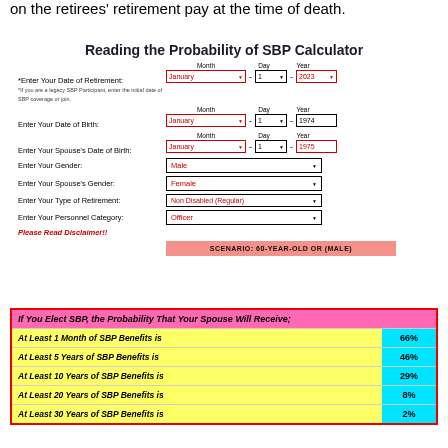on the retirees' retirement pay at the time of death.
Reading the Probability of SBP Calculator
[Figure (screenshot): SBP calculator form with fields for Date of Retirement (January 1 2023), Date of Birth (January 1 1974), Spouse's Date of Birth (January 1 1975), Gender (Male), Spouse's Gender (Female), Type of Retirement (Non Disabled Regular), Personnel Category (Officer). Disclaimer note. Scenario bar: SCENARIO: 60-YEAR-OLD OR (MALE)]
| If You Elect SBP, the Probability That Your Spouse Will Receive; |  |
| --- | --- |
| At Least 1 Month of SBP Benefits is | 66% |
| At Least 5 Years of SBP Benefits is | 46% |
| At Least 10 Years of SBP Benefits is | 29% |
| At Least 20 Years of SBP Benefits is | 8% |
| At Least 30 Years of SBP Benefits is | 2% |